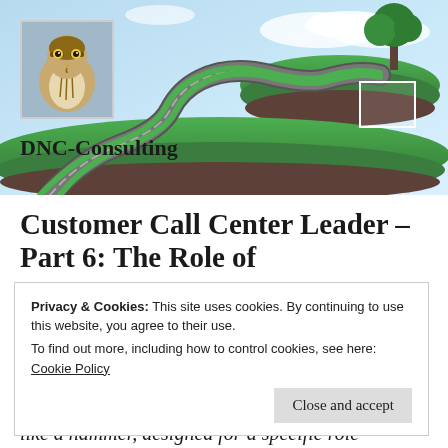[Figure (photo): Header banner showing a winding road on floating grass islands with a tree, blue sky and clouds background, with a hawk/falcon photo inset in top-left and DNC-Consulting site name overlay]
Customer Call Center Leader – Part 6: The Role of Technology in Operations
Privacy & Cookies: This site uses cookies. By continuing to use this website, you agree to their use.
To find out more, including how to control cookies, see here: Cookie Policy
like a hammer, designed for a specific role